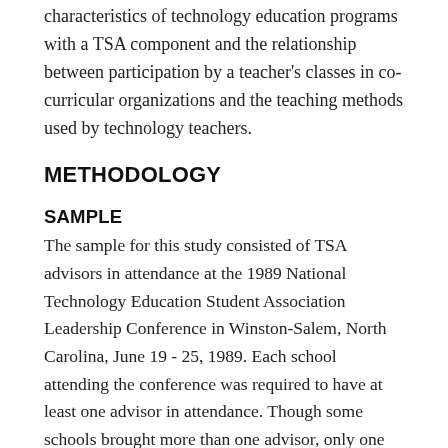characteristics of technology education programs with a TSA component and the relationship between participation by a teacher's classes in co-curricular organizations and the teaching methods used by technology teachers.
METHODOLOGY
SAMPLE
The sample for this study consisted of TSA advisors in attendance at the 1989 National Technology Education Student Association Leadership Conference in Winston-Salem, North Carolina, June 19 - 25, 1989. Each school attending the conference was required to have at least one advisor in attendance. Though some schools brought more than one advisor, only one was